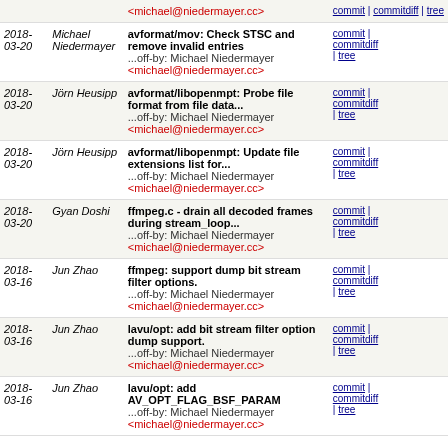| Date | Author | Description | Links |
| --- | --- | --- | --- |
|  |  | <michael@niedermayer.cc> | commit | commitdiff | tree |
| 2018-03-20 | Michael Niedermayer | avformat/mov: Check STSC and remove invalid entries
...off-by: Michael Niedermayer <michael@niedermayer.cc> | commit | commitdiff | tree |
| 2018-03-20 | Jörn Heusipp | avformat/libopenmpt: Probe file format from file data...
...off-by: Michael Niedermayer <michael@niedermayer.cc> | commit | commitdiff | tree |
| 2018-03-20 | Jörn Heusipp | avformat/libopenmpt: Update file extensions list for...
...off-by: Michael Niedermayer <michael@niedermayer.cc> | commit | commitdiff | tree |
| 2018-03-20 | Gyan Doshi | ffmpeg.c - drain all decoded frames during stream_loop...
...off-by: Michael Niedermayer <michael@niedermayer.cc> | commit | commitdiff | tree |
| 2018-03-16 | Jun Zhao | ffmpeg: support dump bit stream filter options.
...off-by: Michael Niedermayer <michael@niedermayer.cc> | commit | commitdiff | tree |
| 2018-03-16 | Jun Zhao | lavu/opt: add bit stream filter option dump support.
...off-by: Michael Niedermayer <michael@niedermayer.cc> | commit | commitdiff | tree |
| 2018-03-16 | Jun Zhao | lavu/opt: add AV_OPT_FLAG_BSF_PARAM
...off-by: Michael Niedermayer <michael@niedermayer.cc> | commit | commitdiff | tree |